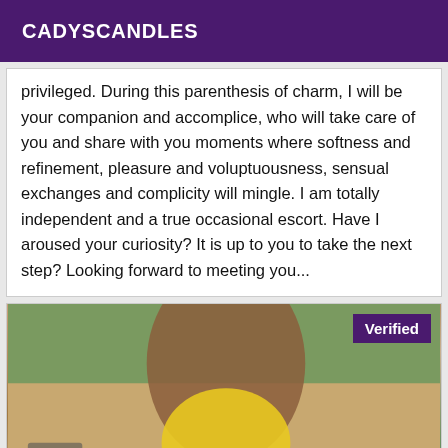CADYSCANDLES
privileged. During this parenthesis of charm, I will be your companion and accomplice, who will take care of you and share with you moments where softness and refinement, pleasure and voluptuousness, sensual exchanges and complicity will mingle. I am totally independent and a true occasional escort. Have I aroused your curiosity? It is up to you to take the next step? Looking forward to meeting you...
[Figure (photo): Woman in yellow bikini top on a balcony, covering her face with her hair, with greenery in background. A 'Verified' badge appears in the top-right corner of the image.]